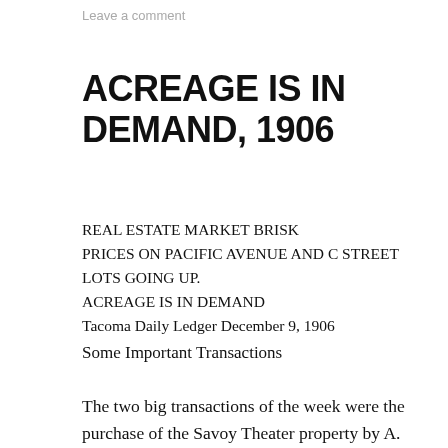Leave a comment
ACREAGE IS IN DEMAND, 1906
REAL ESTATE MARKET BRISK
PRICES ON PACIFIC AVENUE AND C STREET LOTS GOING UP.
ACREAGE IS IN DEMAND
Tacoma Daily Ledger December 9, 1906
Some Important Transactions
The two big transactions of the week were the purchase of the Savoy Theater property by A.